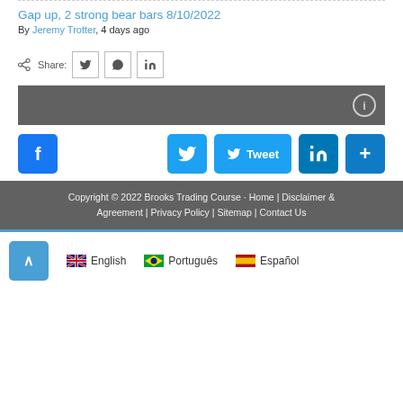Gap up, 2 strong bear bars 8/10/2022
By Jeremy Trotter, 4 days ago
Share:
[Figure (screenshot): Social sharing buttons: Twitter, WhatsApp, LinkedIn]
[Figure (screenshot): Dark gray info bar]
[Figure (screenshot): Facebook, Twitter, Tweet, LinkedIn, and share+ social media buttons]
Copyright © 2022 Brooks Trading Course · Home | Disclaimer & Agreement | Privacy Policy | Sitemap | Contact Us
English | Português | Español